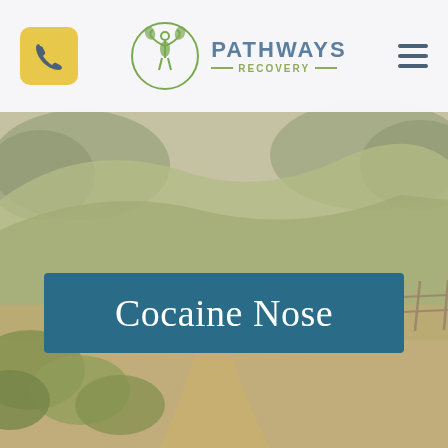[Figure (screenshot): Website header and hero image for Pathways Recovery. The header contains a yellow phone button on the left, the Pathways Recovery logo (circular green plant/person icon) and brand name in the center, and a hamburger menu icon on the right. The background is a misty landscape photo of rolling green hills, trees, and a dirt path with a fence. Over the landscape is a teal/dark blue banner reading 'Cocaine Nose' in white serif font.]
Cocaine Nose